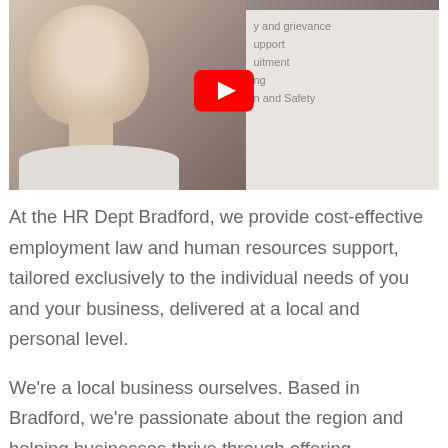[Figure (screenshot): Video thumbnail showing a woman in a light top with a YouTube play button overlay, and a sidebar with text listing HR services including discipline and grievance, support, recruitment, and Health and Safety]
At the HR Dept Bradford, we provide cost-effective employment law and human resources support, tailored exclusively to the individual needs of you and your business, delivered at a local and personal level.
We're a local business ourselves. Based in Bradford, we're passionate about the region and helping businesses thrive through offering pragmatic trusted and advice across the full spectrum of employment. We focus on maximising your people performance and